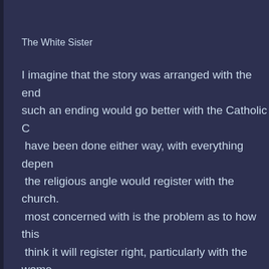The White Sister
I imagine that the story was arranged with the end such an ending would go better with the Catholic C have been done either way, with everything depen the religious angle would register with the church. most concerned with is the problem as to how this think it will register right, particularly with the wome
Here in Los Angeles this has been presented on a reserved seats, and $1.65 top. I believe that with a better gross business by showing it at advanced p the second second. The second of the second second second